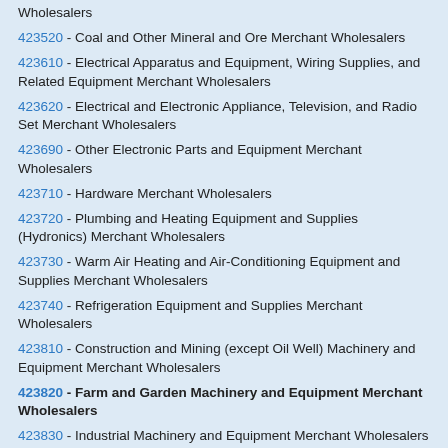Wholesalers
423520 - Coal and Other Mineral and Ore Merchant Wholesalers
423610 - Electrical Apparatus and Equipment, Wiring Supplies, and Related Equipment Merchant Wholesalers
423620 - Electrical and Electronic Appliance, Television, and Radio Set Merchant Wholesalers
423690 - Other Electronic Parts and Equipment Merchant Wholesalers
423710 - Hardware Merchant Wholesalers
423720 - Plumbing and Heating Equipment and Supplies (Hydronics) Merchant Wholesalers
423730 - Warm Air Heating and Air-Conditioning Equipment and Supplies Merchant Wholesalers
423740 - Refrigeration Equipment and Supplies Merchant Wholesalers
423810 - Construction and Mining (except Oil Well) Machinery and Equipment Merchant Wholesalers
423820 - Farm and Garden Machinery and Equipment Merchant Wholesalers
423830 - Industrial Machinery and Equipment Merchant Wholesalers
423840 - Industrial Supplies Merchant Wholesalers